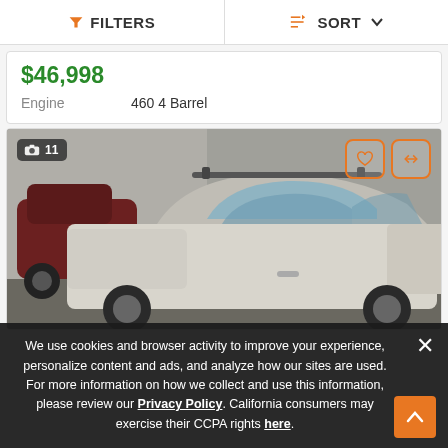FILTERS | SORT
$46,998
Engine    460 4 Barrel
[Figure (photo): White classic car in a garage/workshop, partial view showing the front hood, windshield area, roof, and side. Another dark red car visible in background on the left.]
We use cookies and browser activity to improve your experience, personalize content and ads, and analyze how our sites are used. For more information on how we collect and use this information, please review our Privacy Policy. California consumers may exercise their CCPA rights here.